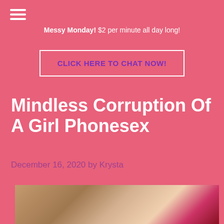☰
Messy Monday! $2 per minute all day long!
CLICK HERE TO CHAT NOW!
Mindless Corruption Of A Girl Phonesex
December 16, 2020 by Krysta
[Figure (photo): Photo of a person sitting near a wooden desk/dresser with drawers, wearing a dark magenta/pink outfit, lower body visible]